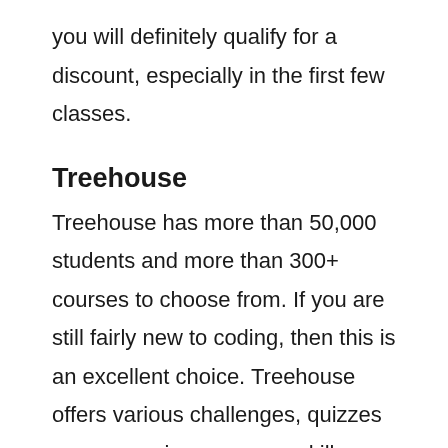you will definitely qualify for a discount, especially in the first few classes.
Treehouse
Treehouse has more than 50,000 students and more than 300+ courses to choose from. If you are still fairly new to coding, then this is an excellent choice. Treehouse offers various challenges, quizzes so you can improve your skills. Although